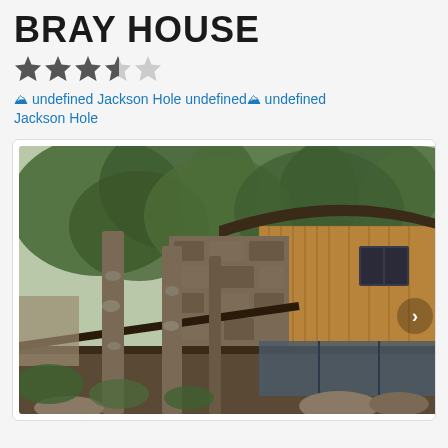BRAY HOUSE
★★★½☆
🏔 undefined Jackson Hole undefined 🏔 undefined Jackson Hole
[Figure (photo): Exterior photo of Bray House showing a rustic wooden building with stone accents surrounded by tall pine trees, with a large deck/porch area and mountain-style architecture.]